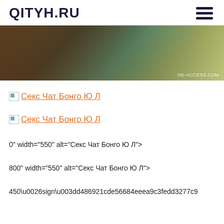QITYH.RU
[Figure (photo): Banner image showing people, with HD-ACCESS.COM watermark in bottom right]
Секс Чат Бонго Ю Л
Секс Чат Бонго Ю Л
0" width="550" alt="Секс Чат Бонго Ю Л">
800" width="550" alt="Секс Чат Бонго Ю Л">
450\u0026sign\u003dd486921cde56684eeea9c3fedd3277c9